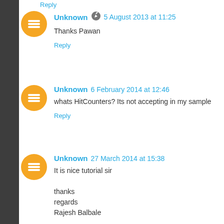Reply
Unknown  5 August 2013 at 11:25
Thanks Pawan
Reply
Unknown  6 February 2014 at 12:46
whats HitCounters? Its not accepting in my sample
Reply
Unknown  27 March 2014 at 15:38
It is nice tutorial sir

thanks
regards
Rajesh Balbale
Reply